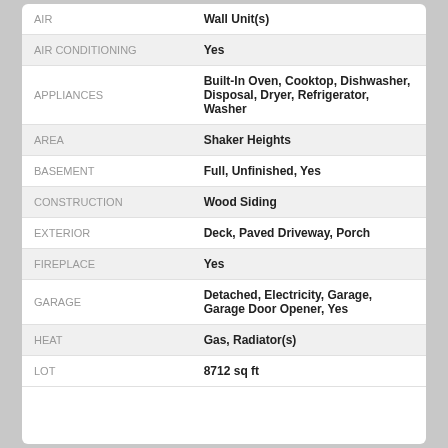| Attribute | Value |
| --- | --- |
| AIR | Wall Unit(s) |
| AIR CONDITIONING | Yes |
| APPLIANCES | Built-In Oven, Cooktop, Dishwasher, Disposal, Dryer, Refrigerator, Washer |
| AREA | Shaker Heights |
| BASEMENT | Full, Unfinished, Yes |
| CONSTRUCTION | Wood Siding |
| EXTERIOR | Deck, Paved Driveway, Porch |
| FIREPLACE | Yes |
| GARAGE | Detached, Electricity, Garage, Garage Door Opener, Yes |
| HEAT | Gas, Radiator(s) |
| LOT | 8712 sq ft |